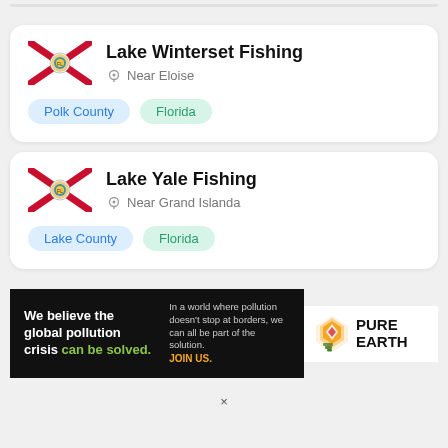Lake Winterset Fishing
Near Eloise
Polk County
Florida
Lake Yale Fishing
Near Grand Islanda
Lake County
Florida
[Figure (infographic): Pure Earth advertisement banner: 'We believe the global pollution crisis can be solved. In a world where pollution doesn't stop at borders, we can all be part of the solution. JOIN US.' with Pure Earth logo.]